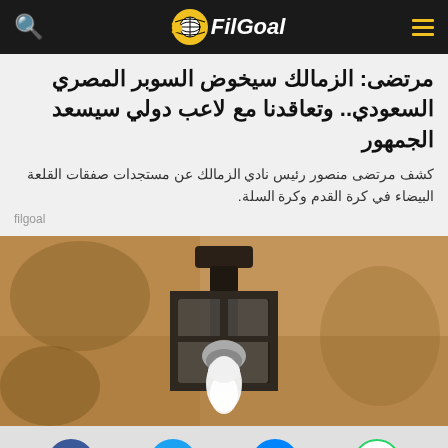FilGoal
مرتضى: الزمالك سيخوض السوبر المصري السعودي.. وتعاقدنا مع لاعب دولي سيسعد الجمهور
كشف مرتضى منصور رئيس نادي الزمالك عن مستجدات صفقات القلعة البيضاء في كرة القدم وكرة السلة.
filgoal
[Figure (photo): A wall-mounted lantern or lamp fixture photographed against a textured stone/plaster wall]
[Figure (other): Social sharing icons: Facebook, Twitter, Messenger, WhatsApp]
FilGoal - في الجول | Sarmady | FREE - In Google Play | الى التطبيق